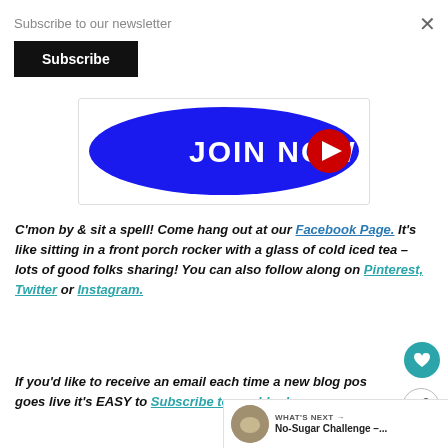Subscribe to our newsletter
[Figure (screenshot): Black Subscribe button on white background]
[Figure (illustration): Blue oval banner with white bold text JOIN NOW and a red and white play button arrow on the right]
C’mon by & sit a spell!  Come hang out at our Facebook Page. It’s like sitting in a front porch rocker with a glass of cold iced tea – lots of good folks sharing!  You can also follow along on Pinterest, Twitter or Instagram.
If you’d like to receive an email each time a new blog pos goes live it’s EASY to Subscribe to our blog!
[Figure (screenshot): Teal heart icon circular button]
[Figure (screenshot): Share icon circular button]
[Figure (screenshot): WHAT'S NEXT thumbnail with No-Sugar Challenge article preview]